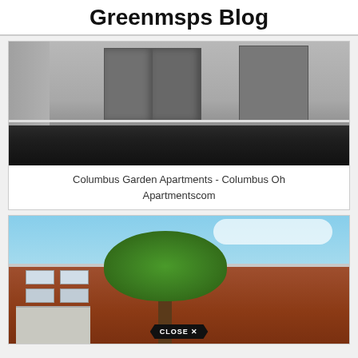Greenmsps Blog
[Figure (photo): Interior photo of an empty apartment room with gray walls, dark carpet floor, and closet doors visible in the background.]
Columbus Garden Apartments - Columbus Oh Apartmentscom
[Figure (photo): Exterior photo of a brick apartment building with a large green tree in front, blue sky in background. A 'CLOSE X' badge overlay is visible at the bottom center.]